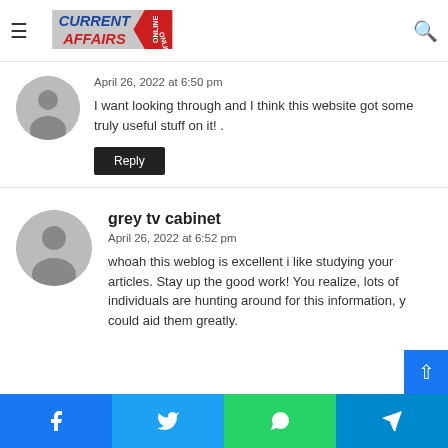Current Affairs Online
April 26, 2022 at 6:50 pm
I want looking through and I think this website got some truly useful stuff on it! .
Reply
grey tv cabinet
April 26, 2022 at 6:52 pm
whoah this weblog is excellent i like studying your articles. Stay up the good work! You realize, lots of individuals are hunting around for this information, you could aid them greatly.